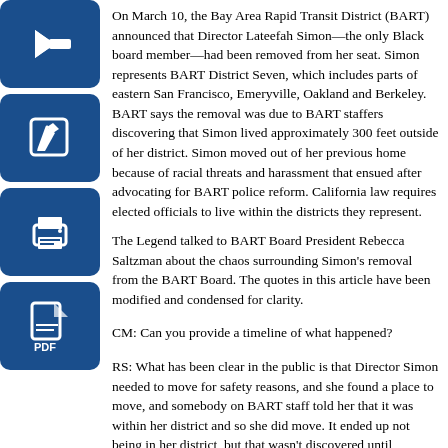[Figure (illustration): Four blue square icon buttons stacked vertically on the left: back arrow, edit/pencil, print, and PDF document icons]
On March 10, the Bay Area Rapid Transit District (BART) announced that Director Lateefah Simon—the only Black board member—had been removed from her seat. Simon represents BART District Seven, which includes parts of eastern San Francisco, Emeryville, Oakland and Berkeley. BART says the removal was due to BART staffers discovering that Simon lived approximately 300 feet outside of her district. Simon moved out of her previous home because of racial threats and harassment that ensued after advocating for BART police reform. California law requires elected officials to live within the districts they represent.
The Legend talked to BART Board President Rebecca Saltzman about the chaos surrounding Simon's removal from the BART Board. The quotes in this article have been modified and condensed for clarity.
CM: Can you provide a timeline of what happened?
RS: What has been clear in the public is that Director Simon needed to move for safety reasons, and she found a place to move, and somebody on BART staff told her that it was within her district and so she did move. It ended up not being in her district, but that wasn't discovered until recently. When it became clear that it wasn't in her district—a fact nobody, including Simon